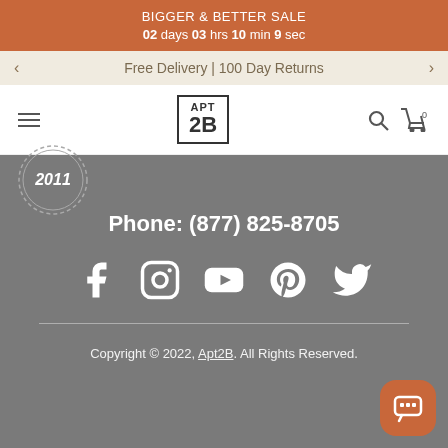BIGGER & BETTER SALE
02 days 03 hrs 10 min 9 sec
Free Delivery | 100 Day Returns
[Figure (logo): APT 2B logo in a bordered box]
[Figure (illustration): Circular badge with '2011' text]
Phone: (877) 825-8705
[Figure (illustration): Social media icons: Facebook, Instagram, YouTube, Pinterest, Twitter]
Copyright © 2022, Apt2B. All Rights Reserved.